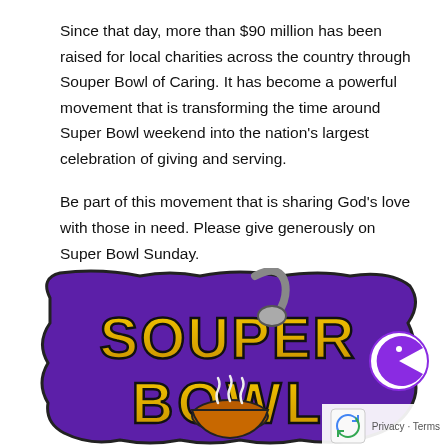Since that day, more than $90 million has been raised for local charities across the country through Souper Bowl of Caring. It has become a powerful movement that is transforming the time around Super Bowl weekend into the nation's largest celebration of giving and serving.
Be part of this movement that is sharing God's love with those in need. Please give generously on Super Bowl Sunday.
[Figure (logo): Souper Bowl of Caring logo with purple decorative border, gold text reading 'SOUPER BOWL' and a soup bowl with ladle illustration]